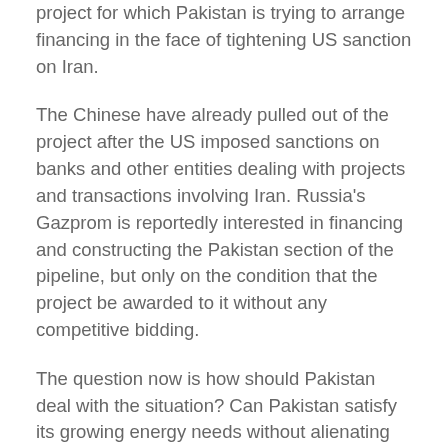project for which Pakistan is trying to arrange financing in the face of tightening US sanction on Iran.
The Chinese have already pulled out of the project after the US imposed sanctions on banks and other entities dealing with projects and transactions involving Iran. Russia's Gazprom is reportedly interested in financing and constructing the Pakistan section of the pipeline, but only on the condition that the project be awarded to it without any competitive bidding.
The question now is how should Pakistan deal with the situation? Can Pakistan satisfy its growing energy needs without alienating the Saudis and avoiding crippling US sanctions which could be more damaging than its current energy crisis?
To answer these questions, let's first examine the following facts: